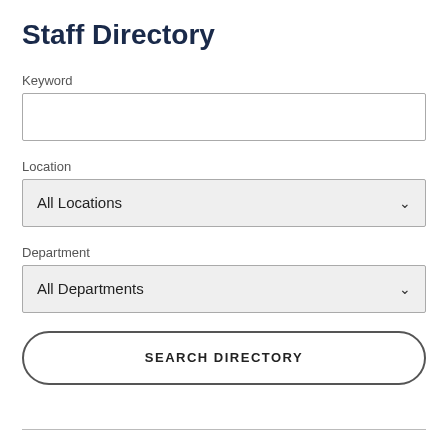Staff Directory
Keyword
Location
All Locations
Department
All Departments
SEARCH DIRECTORY